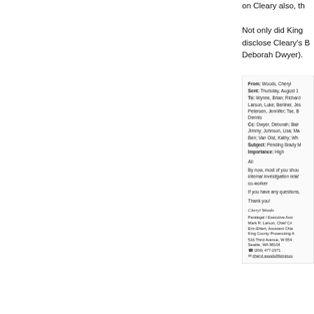on Cleary also, th
Not only did King disclose Cleary's B Deborah Dwyer).
[Figure (screenshot): Email from Woods, Cheryl. Sent Thursday August. To: Wynne, Brian; Richardson; Larson, Luke; Berliner, Jes; Petersen, Jennifer; Tse, B; Dennis. Cc: Dwyer, Deborah; Bair; Jimmy; Johnson, Lisa; Ma; Ben; Van Olst, Kathy; Wh. Subject: Pending Brady M. Importance: High. Body: All, By now most of you shou internal investigation relat co-worker. If you have any questions. Thank you! Signed Cheryl Woods, Paralegal / Executive Assi, Mark R. Larson, Chief Cri, Erin Ehlert, Assistant Chie, King County Prosecuting A, 516 Third Avenue W-554, Seattle WA 98104, (206) 477-1971, cheryl.woods@kingcou]